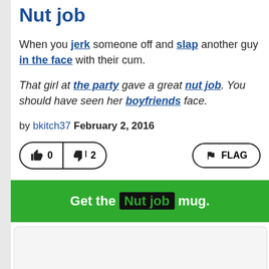Nut job
When you jerk someone off and slap another guy in the face with their cum.
That girl at the party gave a great nut job. You should have seen her boyfriends face.
by bkitch37 February 2, 2016
[Figure (other): Vote buttons: thumbs up with count 0, thumbs down with count 2, and a FLAG button]
Get the Nut job mug.